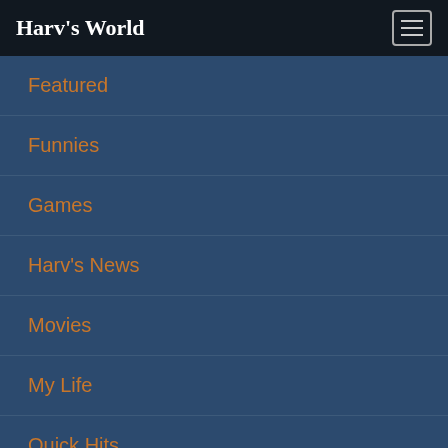Harv's World
Featured
Funnies
Games
Harv's News
Movies
My Life
Quick Hits
Redskins
Reviews